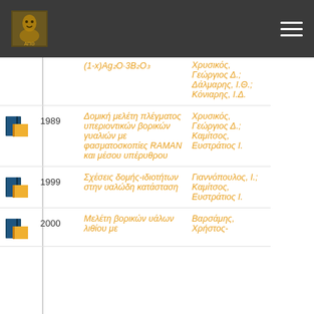Navigation bar with logo and menu
1989 | Δομική μελέτη πλέγματος υπεριοντικών βορικών γυαλιών με φασματοσκοπίες RAMAN και μέσου υπέρυθρου | Χρυσικός, Γεώργιος Δ.; Καμίτσος, Ευστράτιος Ι.
1999 | Σχέσεις δομής-ιδιοτήτων στην υαλώδη κατάσταση | Γιαννόπουλος, Ι.; Καμίτσος, Ευστράτιος Ι.
2000 | Μελέτη βορικών υάλων λιθίου με | Βαρσάμης, Χρήστος-